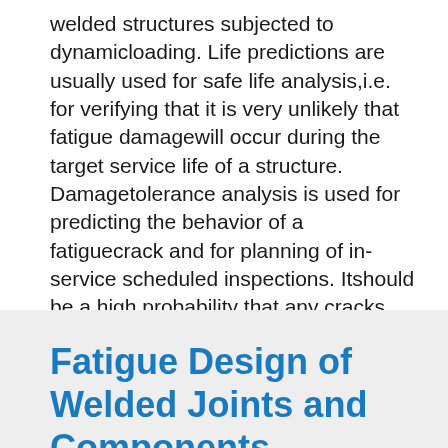welded structures subjected to dynamicloading. Life predictions are usually used for safe life analysis,i.e. for verifying that it is very unlikely that fatigue damagewill occur during the target service life of a structure. Damagetolerance analysis is used for predicting the behavior of a fatiguecrack and for planning of in-service scheduled inspections. Itshould be a high probability that any cracks appearing are detectedand repaired before
Fatigue Design of Welded Joints and Components